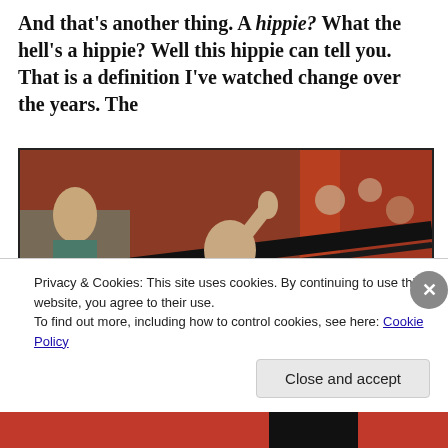And that's another thing. A hippie? What the hell's a hippie? Well this hippie can tell you. That is a definition I've watched change over the years. The
[Figure (photo): A crowd scene photo with people at what appears to be a protest or public event. A woman in the center is raising her hand, with others around her. The background shows reddish/orange structures. Another woman is visible in the lower right.]
Privacy & Cookies: This site uses cookies. By continuing to use this website, you agree to their use.
To find out more, including how to control cookies, see here: Cookie Policy
Close and accept